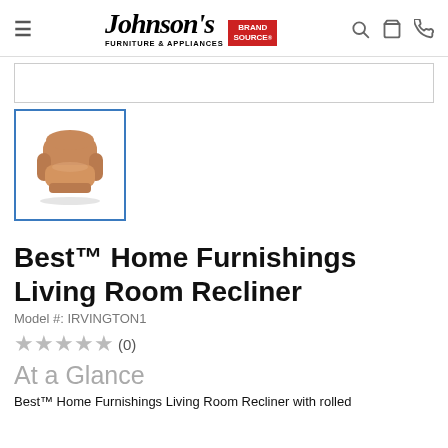Johnson's Furniture & Appliances — Brand Source
[Figure (photo): Thumbnail image of a tan/caramel colored recliner chair against a white background, shown with a blue border indicating selection]
Best™ Home Furnishings Living Room Recliner
Model #: IRVINGTON1
★★★★★ (0)
At a Glance
Best™ Home Furnishings Living Room Recliner with rolled